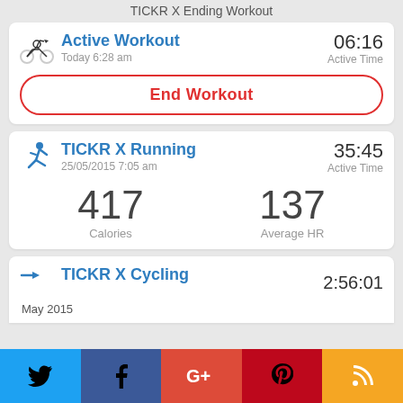TICKR X Ending Workout
Active Workout | Today 6:28 am | 06:16 Active Time
End Workout
TICKR X Running | 25/05/2015 7:05 am | 35:45 Active Time
417 Calories | 137 Average HR
TICKR X Cycling | 2:56:01 | May 2015
[Figure (screenshot): Social share buttons: Twitter, Facebook, Google+, Pinterest, RSS]